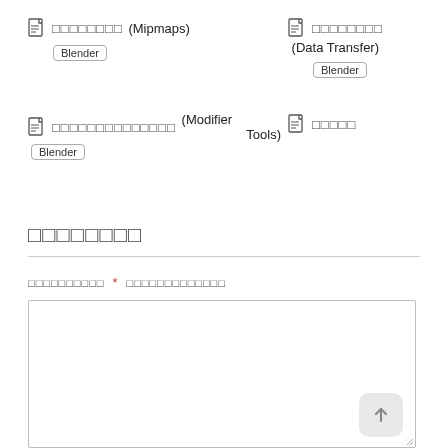[doc icon] □□□□□□□□ (Mipmaps) [Blender]
[doc icon] □□□□□□□□ (Data Transfer) [Blender]
[doc icon] □□□□□□□□□□□□□□□□ (Modifier Tools) [Blender]
[doc icon] □□□□□
□□□□□□□□
□□□□□□□□□□ * □□□□□□□□□□□□□
[Figure (other): Large text area input box with upload arrow button]
[Figure (other): Small input box at bottom]